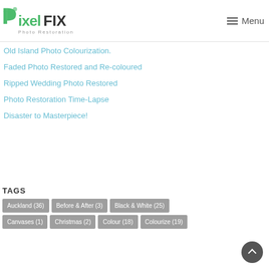PixelFIX Photo Restoration | Menu
Old Island Photo Colourization.
Faded Photo Restored and Re-coloured
Ripped Wedding Photo Restored
Photo Restoration Time-Lapse
Disaster to Masterpiece!
TAGS
Auckland (36)
Before & After (3)
Black & White (25)
Canvases (1)
Christmas (2)
Colour (18)
Colourize (19)